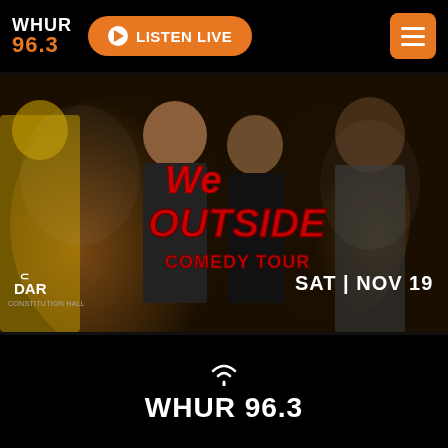WHUR 96.3 — LISTEN LIVE
[Figure (photo): We Outside Comedy Tour promotional poster featuring performers at DAR Constitution Hall, SAT | NOV 19]
WHUR 96.3